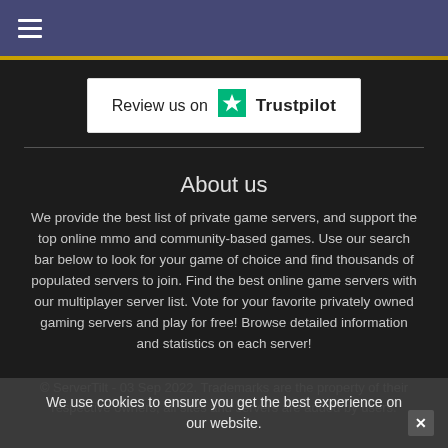≡ (hamburger menu icon)
[Figure (logo): Trustpilot review button — white rectangle with text 'Review us on ★ Trustpilot']
About us
We provide the best list of private game servers, and support the top online mmo and community-based games. Use our search bar below to look for your game of choice and find thousands of populated servers to join. Find the best online game servers with our multiplayer server list. Vote for your favorite privately owned gaming servers and play for free! Browse detailed information and statistics on each server!
© ServerTilt - 03 Sep 2022. Trademarks are the property of their respective owners, all sites and servers are added by users.
We use cookies to ensure you get the best experience on our website.